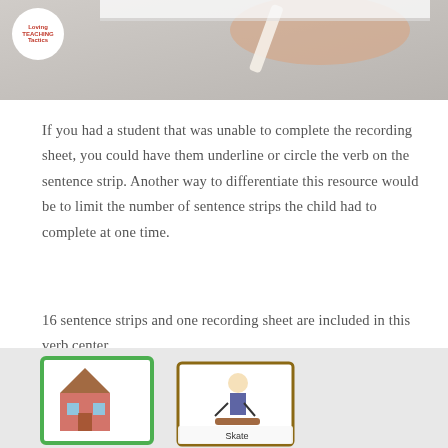[Figure (photo): Top photo showing a hand writing on paper with a logo circle overlay in the top-left corner reading 'Loving Teaching Tactics']
If you had a student that was unable to complete the recording sheet, you could have them underline or circle the verb on the sentence strip. Another way to differentiate this resource would be to limit the number of sentence strips the child had to complete at one time.
16 sentence strips and one recording sheet are included in this verb center.
[Figure (photo): Bottom photo showing illustrated sentence strip cards with images of a house and a person skateboarding with the word 'Skate', on a light gray background]